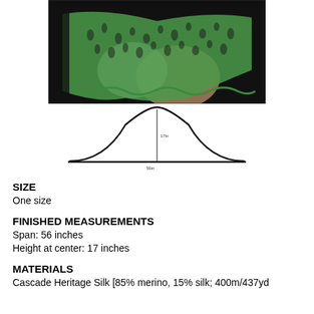[Figure (photo): A green lace knitted shawl displayed on a mannequin or person, showing an intricate lace pattern in green yarn against a dark background.]
[Figure (schematic): A schematic diagram of a shawl shape showing a bell/arch curve outline with a vertical center line labeled '17in' and a horizontal baseline labeled '56in', indicating the finished measurements of the shawl.]
SIZE
One size
FINISHED MEASUREMENTS
Span: 56 inches
Height at center: 17 inches
MATERIALS
Cascade Heritage Silk [85% merino, 15% silk; 400m/437yd